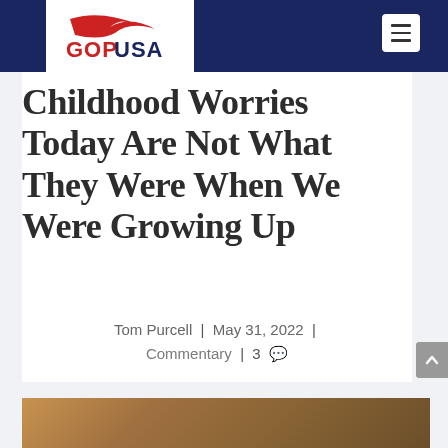GOPUSA
Childhood Worries Today Are Not What They Were When We Were Growing Up
Tom Purcell | May 31, 2022 | Commentary | 3
[Figure (photo): Partial photo visible at bottom of page, appears to show people in an interior setting]